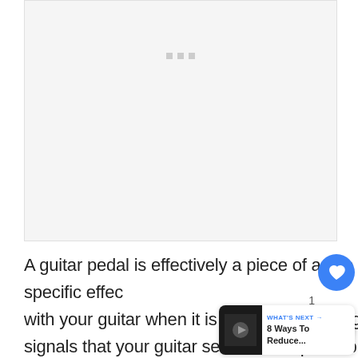[Figure (other): Blank/loading image area with three small grey loading indicator squares near the top center]
A guitar pedal is effectively a piece of audio equipment that allows you to create specific effects with your guitar when it is played, by altering the signals that your guitar sends to the pedal by changing the path that the signal usually
[Figure (other): Blue circular heart/favorite button with white heart icon, share button, and 'WHAT'S NEXT' card showing '8 Ways To Reduce...' with a dark thumbnail]
WHAT'S NEXT → 8 Ways To Reduce...